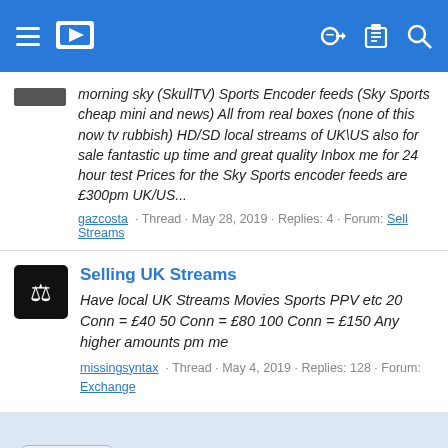Navigation bar with menu, logo, key, clipboard and search icons
morning sky (SkullTV) Sports Encoder feeds (Sky Sports cheap mini and news) All from real boxes (none of this now tv rubbish) HD/SD local streams of UK\US also for sale fantastic up time and great quality Inbox me for 24 hour test Prices for the Sky Sports encoder feeds are £300pm UK/US...
gazcosta · Thread · May 28, 2019 · Replies: 4 · Forum: Sell Streams
Selling UK Streams
Have local UK Streams Movies Sports PPV etc 20 Conn = £40 50 Conn = £80 100 Conn = £150 Any higher amounts pm me
missingsyntax · Thread · May 4, 2019 · Replies: 128 · Forum: Exchange
Day Mode toggle | Contact us | Terms and rules | Privacy policy | Help | Home | Forum software by XenForo® © 2010-2020 XenForo Ltd. Rapid IPTV and IPTV Community Team © 2014 - 2020